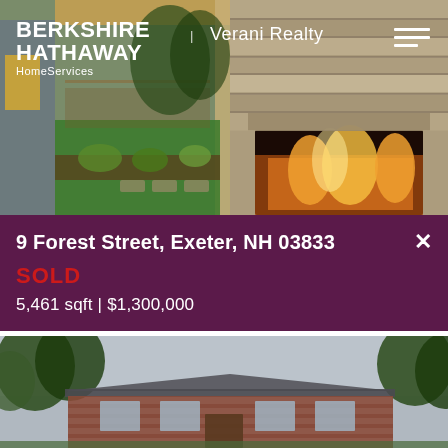[Figure (photo): Hero composite: left panel shows patio/garden outdoor area with green lawn and landscaping, right panel shows stone fireplace with fire burning. Berkshire Hathaway HomeServices | Verani Realty logo overlay on photo.]
9 Forest Street, Exeter, NH 03833
SOLD
5,461 sqft | $1,300,000
[Figure (photo): Exterior photo of a large colonial-style house with gray roof, brick facade, surrounded by large trees under an overcast sky.]